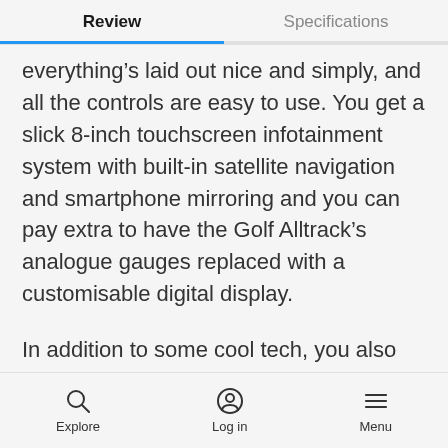Review | Specifications
everything’s laid out nice and simply, and all the controls are easy to use. You get a slick 8-inch touchscreen infotainment system with built-in satellite navigation and smartphone mirroring and you can pay extra to have the Golf Alltrack’s analogue gauges replaced with a customisable digital display.
In addition to some cool tech, you also get glossy black trims on the dashboard, stainless steel pedals and some more thickly bolstered seats with partial suede-like Alcantara upholstery. These also come
Explore  Log in  Menu